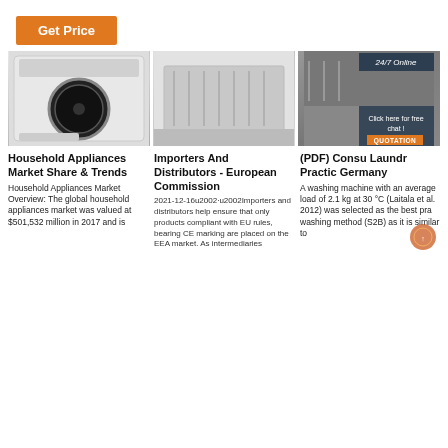Get Price
[Figure (photo): Washing machine product photo]
[Figure (photo): Dishwasher product photo]
[Figure (photo): Dishwasher rack photo with 24/7 Online badge and chat overlay with QUOTATION button]
Household Appliances Market Share & Trends
Household Appliances Market Overview: The global household appliances market was valued at $501,532 million in 2017 and is
Importers And Distributors - European Commission
2021-12-16u2002·u2002Importers and distributors help ensure that only products compliant with EU rules, bearing CE marking are placed on the EEA market. As intermediaries
(PDF) Consu Laundr Practic Germany
A washing machine with an average load of 2.1 kg at 30 °C (Laitala et al. 2012) was selected as the best pra washing method (S2B) as it is similar to